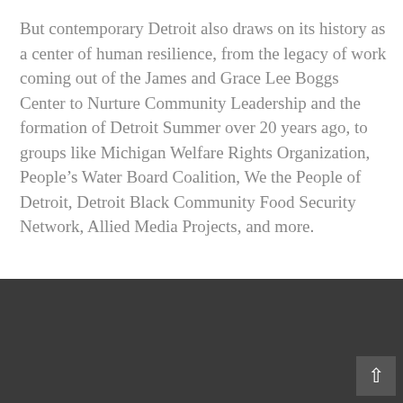But contemporary Detroit also draws on its history as a center of human resilience, from the legacy of work coming out of the James and Grace Lee Boggs Center to Nurture Community Leadership and the formation of Detroit Summer over 20 years ago, to groups like Michigan Welfare Rights Organization, People's Water Board Coalition, We the People of Detroit, Detroit Black Community Food Security Network, Allied Media Projects, and more.